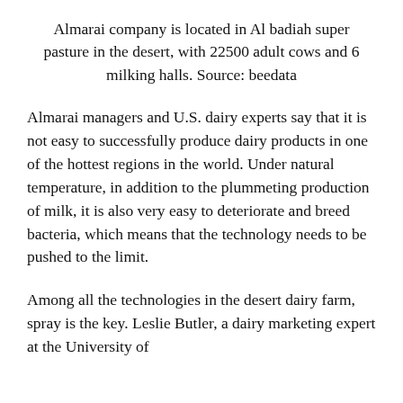Almarai company is located in Al badiah super pasture in the desert, with 22500 adult cows and 6 milking halls. Source: beedata
Almarai managers and U.S. dairy experts say that it is not easy to successfully produce dairy products in one of the hottest regions in the world. Under natural temperature, in addition to the plummeting production of milk, it is also very easy to deteriorate and breed bacteria, which means that the technology needs to be pushed to the limit.
Among all the technologies in the desert dairy farm, spray is the key. Leslie Butler, a dairy marketing expert at the University of